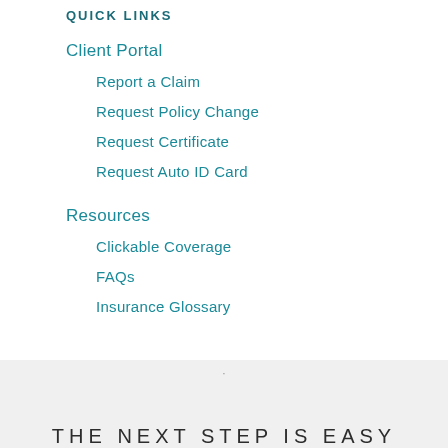QUICK LINKS
Client Portal
Report a Claim
Request Policy Change
Request Certificate
Request Auto ID Card
Resources
Clickable Coverage
FAQs
Insurance Glossary
THE NEXT STEP IS EASY